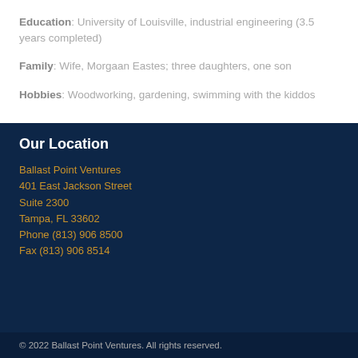Education: University of Louisville, industrial engineering (3.5 years completed)
Family: Wife, Morgaan Eastes; three daughters, one son
Hobbies: Woodworking, gardening, swimming with the kiddos
Our Location
Ballast Point Ventures
401 East Jackson Street
Suite 2300
Tampa, FL 33602
Phone (813) 906 8500
Fax (813) 906 8514
© 2022 Ballast Point Ventures. All rights reserved.